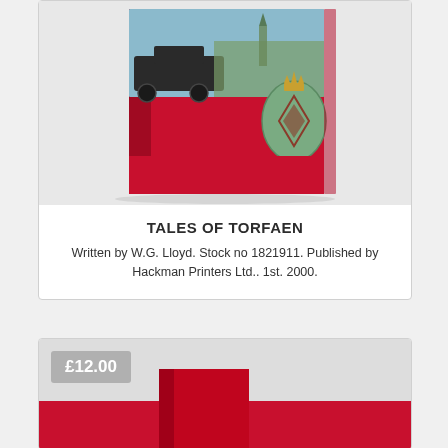[Figure (photo): Book cover of 'Tales of Torfaen' with a red cover showing a steam locomotive and a military badge/medallion, photographed at an angle on a white surface.]
TALES OF TORFAEN
Written by W.G. Lloyd. Stock no 1821911. Published by Hackman Printers Ltd.. 1st. 2000.
[Figure (photo): Partial view of another book listing showing a price badge of £12.00 and the top of a red book cover.]